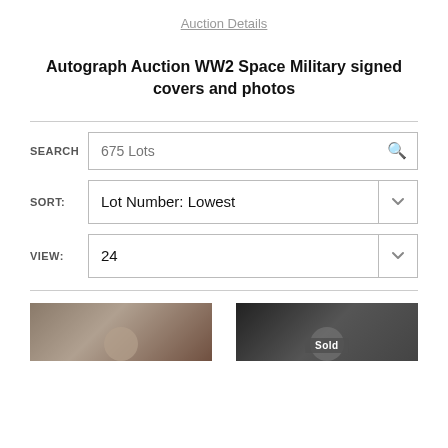Auction Details
Autograph Auction WW2 Space Military signed covers and photos
SEARCH 675 Lots
SORT: Lot Number: Lowest
VIEW: 24
[Figure (photo): Two thumbnail images of auction lots at the bottom of the page. Left thumbnail shows a sepia-toned photo. Right thumbnail shows a black and white photo with a 'Sold' label overlay.]